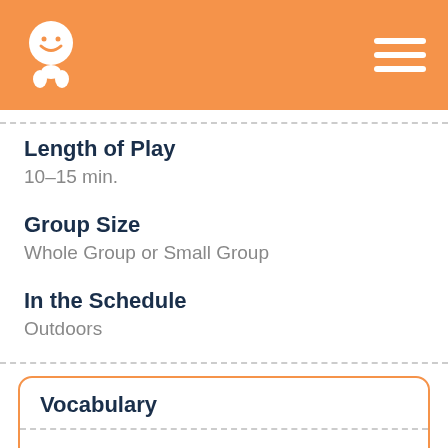Length of Play
10–15 min.
Group Size
Whole Group or Small Group
In the Schedule
Outdoors
Vocabulary
big
different
flowers